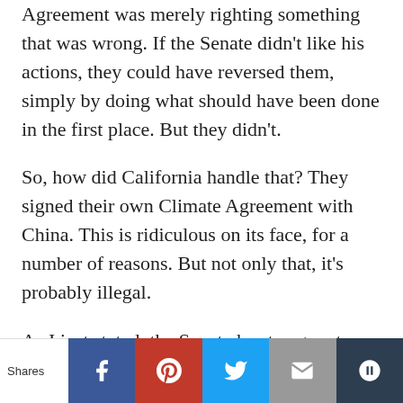Agreement was merely righting something that was wrong. If the Senate didn't like his actions, they could have reversed them, simply by doing what should have been done in the first place. But they didn't.
So, how did California handle that? They signed their own Climate Agreement with China. This is ridiculous on its face, for a number of reasons. But not only that, it's probably illegal.
As I just stated, the Senate has to agree to any treaty. There is no provision in the US Constitution or the California
Shares | Facebook | Pinterest | Twitter | Email | Other